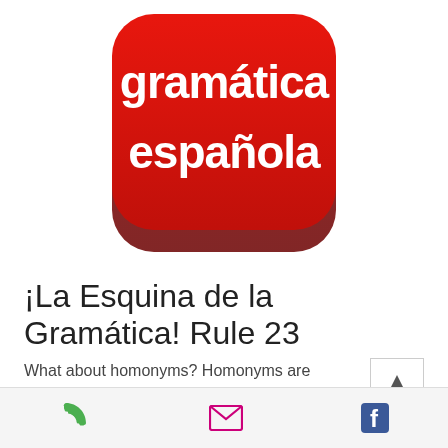[Figure (logo): Red rounded square app icon with white bold text reading 'gramática española']
¡La Esquina de la Gramática! Rule 23
What about homonyms? Homonyms are words that have the same spelling and sound, but have different meanings. Some of these ...
[Figure (infographic): Bottom navigation bar with phone icon (green), email/envelope icon (magenta), and Facebook icon (blue)]